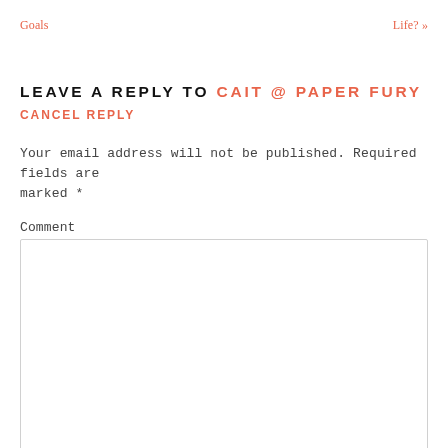Goals   Life? »
LEAVE A REPLY TO CAIT @ PAPER FURY CANCEL REPLY
Your email address will not be published. Required fields are marked *
Comment